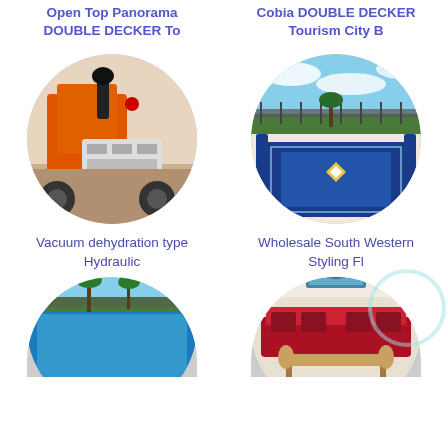Open Top Panorama DOUBLE DECKER To
Cobia DOUBLE DECKER Tourism City B
[Figure (photo): Close-up of orange hydraulic machinery controls with joystick and control panel]
[Figure (photo): Aerial view of ornate blue patterned rugs in an outdoor seating area with decorative furniture]
Vacuum dehydration type Hydraulic
Wholesale South Western Styling Fl
[Figure (photo): Circular cropped image of a rooftop pool area with blue sky and palm trees]
[Figure (photo): Partially visible circular image of an indoor room with decorative furniture and a painting on wall]